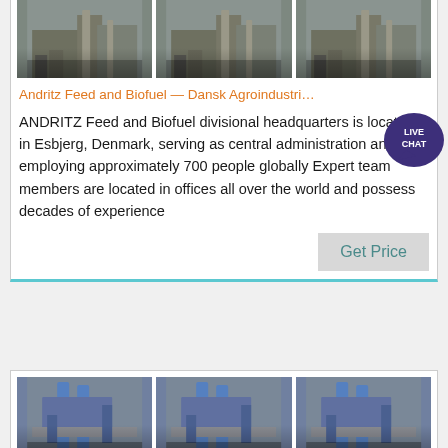[Figure (photo): Three industrial facility photos showing manufacturing/processing equipment in a row]
Andritz Feed and Biofuel — Dansk Agroindustri
ANDRITZ Feed and Biofuel divisional headquarters is located in Esbjerg, Denmark, serving as central administration and employing approximately 700 people globally Expert team members are located in offices all over the world and possess decades of experience
[Figure (photo): Three aerial/overhead industrial facility photos showing processing equipment in a row]
ANDRITZ | LinkedIn